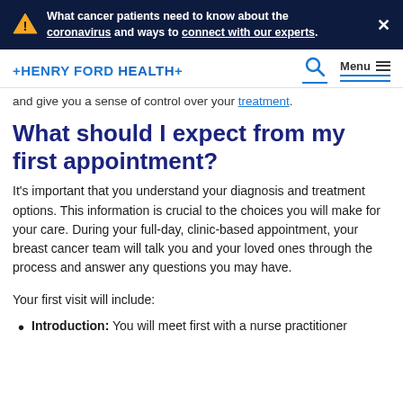What cancer patients need to know about the coronavirus and ways to connect with our experts.
[Figure (screenshot): Henry Ford Health logo and navigation bar with search icon and menu]
and give you a sense of control over your treatment.
What should I expect from my first appointment?
It's important that you understand your diagnosis and treatment options. This information is crucial to the choices you will make for your care. During your full-day, clinic-based appointment, your breast cancer team will talk you and your loved ones through the process and answer any questions you may have.
Your first visit will include:
Introduction: You will meet first with a nurse practitioner